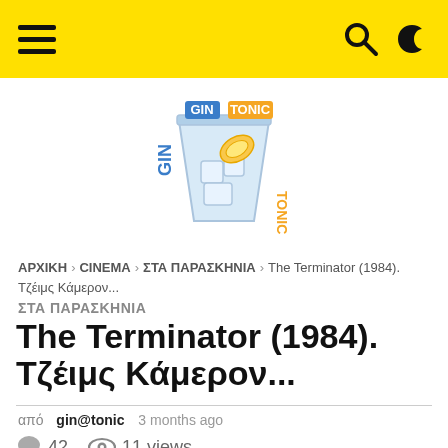Navigation bar with hamburger menu, search and dark mode icons
[Figure (logo): GIN TONIC logo with a cocktail glass illustration, text GIN in blue and TONIC in orange/yellow on the side]
ΑΡΧΙΚΗ > CINEMA > ΣΤΑ ΠΑΡΑΣΚΗΝΙΑ > The Terminator (1984). Τζέιμς Κάμερον...
ΣΤΑ ΠΑΡΑΣΚΗΝΙΑ
The Terminator (1984). Τζέιμς Κάμερον...
από gin@tonic 3 months ago
42 comments · 11 views
Facebook share · Twitter share · Up vote · Down vote